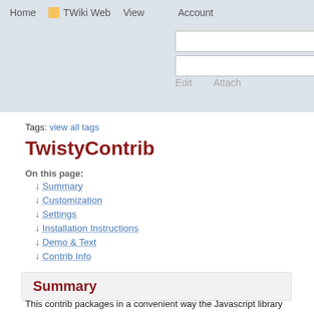Home  TWiki Web  View  Account  Edit  Attach
Tags: view all tags
TwistyContrib
On this page:
↓ Summary
↓ Customization
↓ Settings
↓ Installation Instructions
↓ Demo & Text
↓ Contrib Info
Summary
This contrib packages in a convenient way the Javascript library and the CSS file needed to implement TWisty Sections.
See the attached file for more about...